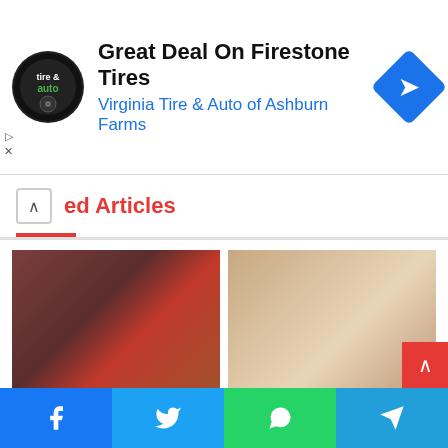[Figure (other): Advertisement banner: Virginia Tire & Auto logo, text 'Great Deal On Firestone Tires', subtitle 'Virginia Tire & Auto of Ashburn Farms', blue diamond navigation icon]
ed Articles
[Figure (photo): Basketball player in red uniform shouting/celebrating, Ayahna Cornish-Lowry]
Ayahna Cornish-Lowry Bio Net Worth Kyle Lowry Wife
April 15, 2022
[Figure (photo): Woman with long dark hair, Sydney Brooke Simpson portrait photo]
Sydney Brooke Simpson Bio OJ Simpson Daughter [2022]
July 18, 2021